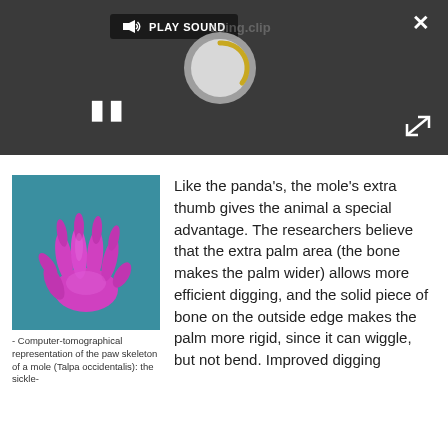[Figure (screenshot): Media player interface with dark background, PLAY SOUND button with speaker icon, a circular loading/spinner graphic in grey with yellow arc, a pause button (two vertical bars), a close X button top-right, and expand arrows bottom-right]
[Figure (illustration): Computer-tomographical 3D rendering of the paw skeleton of a mole (Talpa occidentalis) shown in magenta/pink color on a teal background, showing bones and extra thumb structure]
- Computer-tomographical representation of the paw skeleton of a mole (Talpa occidentalis): the sickle-
Like the panda's, the mole's extra thumb gives the animal a special advantage. The researchers believe that the extra palm area (the bone makes the palm wider) allows more efficient digging, and the solid piece of bone on the outside edge makes the palm more rigid, since it can wiggle, but not bend. Improved digging